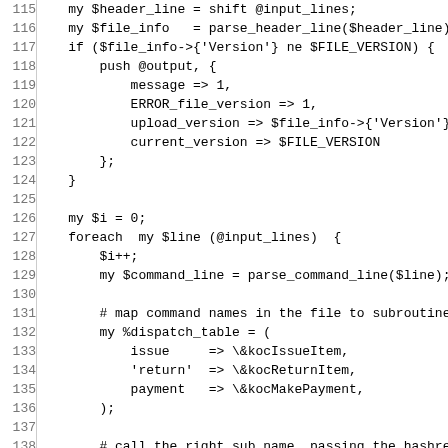[Figure (screenshot): Source code listing in Perl, lines 115-146, showing monospace code with line numbers on the left and code on the right. White background with gray line number column separated by a vertical line.]